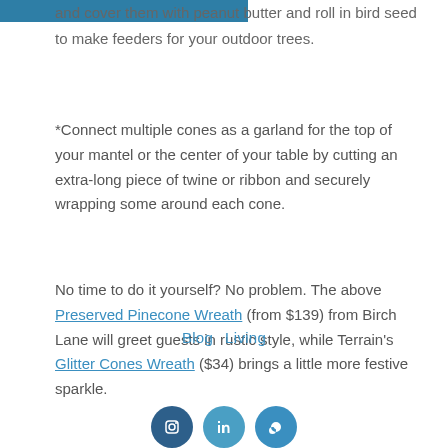and cover them with peanut butter and roll in bird seed to make feeders for your outdoor trees.
*Connect multiple cones as a garland for the top of your mantel or the center of your table by cutting an extra-long piece of twine or ribbon and securely wrapping some around each cone.
No time to do it yourself? No problem. The above Preserved Pinecone Wreath (from $139) from Birch Lane will greet guests in rustic style, while Terrain's Glitter Cones Wreath ($34) brings a little more festive sparkle.
Blog   Living